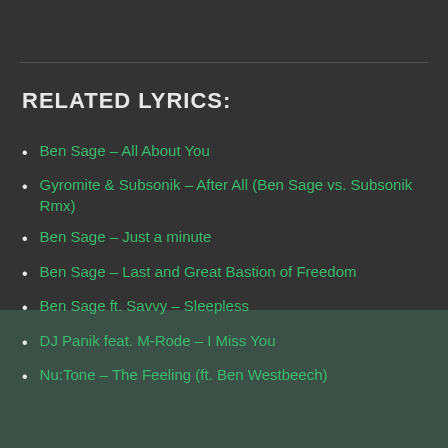RELATED LYRICS:
Ben Sage – All About You
Gyromite & Subsonik – After All (Ben Sage vs. Subsonik Rmx)
Ben Sage – Just a minute
Ben Sage – Last and Great Bastion of Freedom
Ben Sage ft. Savvy – Sleepless
DJ Panik feat. M-Rode – I Miss You
Nu:Tone – The Feeling (ft. Ben Westbeech)